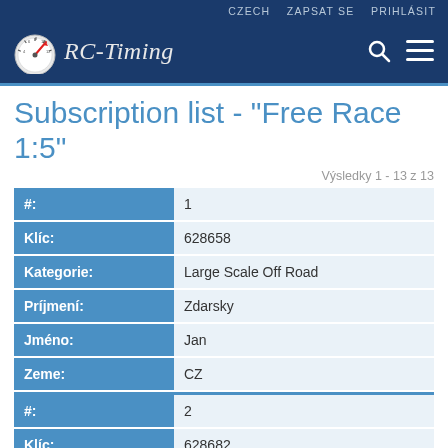CZECH   ZAPSAT SE   PRIHLÁSIT
[Figure (logo): RC-Timing logo with speedometer icon and italic script text on dark blue header bar with search and menu icons]
Subscription list - "Free Race 1:5"
Výsledky 1 - 13 z 13
| #: | 1 |
| Klíc: | 628658 |
| Kategorie: | Large Scale Off Road |
| Príjmení: | Zdarsky |
| Jméno: | Jan |
| Zeme: | CZ |
| #: | 2 |
| Klíc: | 628682 |
| Kategorie: | Large Scale Off Road |